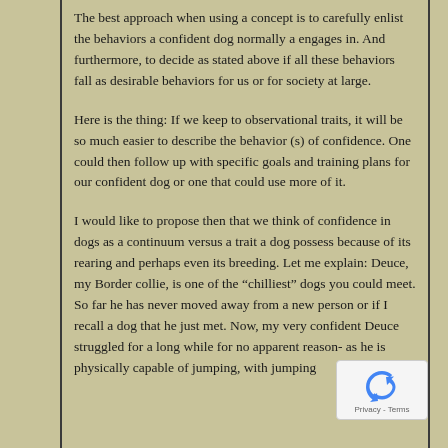The best approach when using a concept is to carefully enlist the behaviors a confident dog normally a engages in. And furthermore, to decide as stated above if all these behaviors fall as desirable behaviors for us or for society at large.
Here is the thing: If we keep to observational traits, it will be so much easier to describe the behavior (s) of confidence. One could then follow up with specific goals and training plans for our confident dog or one that could use more of it.
I would like to propose then that we think of confidence in dogs as a continuum versus a trait a dog possess because of its rearing and perhaps even its breeding. Let me explain: Deuce, my Border collie, is one of the “chilliest” dogs you could meet. So far he has never moved away from a new person or if I recall a dog that he just met. Now, my very confident Deuce struggled for a long while for no apparent reason- as he is physically capable of jumping, with jumping
[Figure (other): reCAPTCHA widget overlay with blue recycling-arrows icon and Privacy - Terms text]